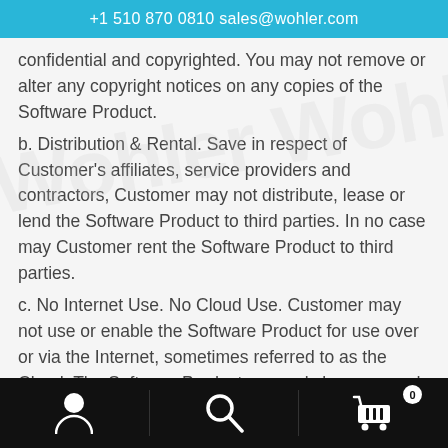+1 510 870 0810 sales@wohler.com
confidential and copyrighted. You may not remove or alter any copyright notices on any copies of the Software Product.
b. Distribution & Rental. Save in respect of Customer's affiliates, service providers and contractors, Customer may not distribute, lease or lend the Software Product to third parties. In no case may Customer rent the Software Product to third parties.
c. No Internet Use. No Cloud Use. Customer may not use or enable the Software Product for use over or via the Internet, sometimes referred to as the Cloud. The Software Product may only be accessed inside Customer's own